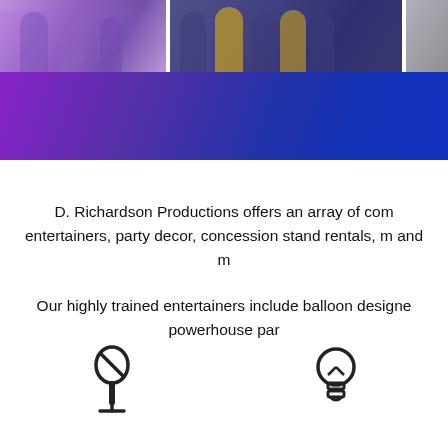[Figure (photo): Three photos in a horizontal strip: a party scene with purple lighting, a sports group photo with blue and yellow colors, and a partial third photo]
[Figure (illustration): Purple to dark blue gradient banner bar]
D. Richardson Productions offers an array of com entertainers, party decor, concession stand rentals, m and m
Our highly trained entertainers include balloon designe powerhouse par
[Figure (illustration): Microphone icon (line art)]
[Figure (illustration): Lightbulb icon (line art)]